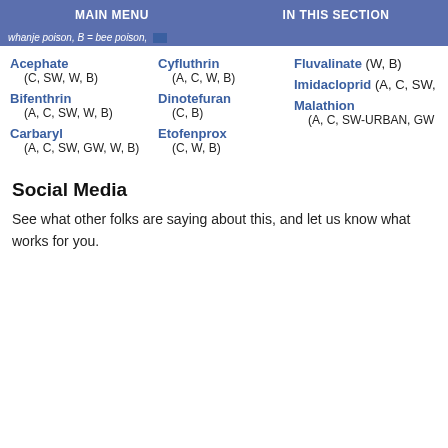MAIN MENU | IN THIS SECTION
whanje poison, B = bee poison, ...
Acephate (C, SW, W, B)
Bifenthrin (A, C, SW, W, B)
Carbaryl (A, C, SW, GW, W, B)
Cyfluthrin (A, C, W, B)
Dinotefuran (C, B)
Etofenprox (C, W, B)
Fluvalinate (W, B)
Imidacloprid (A, C, SW, ...
Malathion (A, C, SW-URBAN, GW...
Social Media
See what other folks are saying about this, and let us know what works for you.